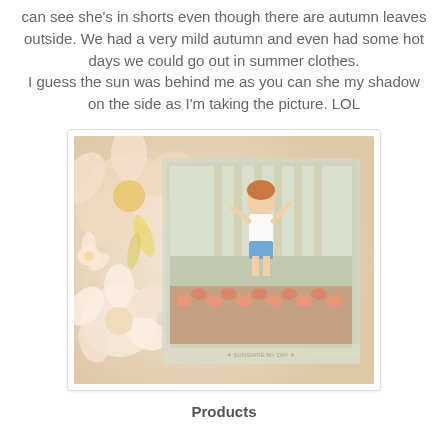can see she's in shorts even though there are autumn leaves outside. We had a very mild autumn and even had some hot days we could go out in summer clothes.
I guess the sun was behind me as you can she my shadow on the side as I'm taking the picture. LOL
[Figure (photo): A scrapbook-style framed photo of a young girl with red hair in shorts and a patterned top, standing outdoors near flowers. The frame is decorated with large paper flowers in pink, peach, and yellow tones.]
Products